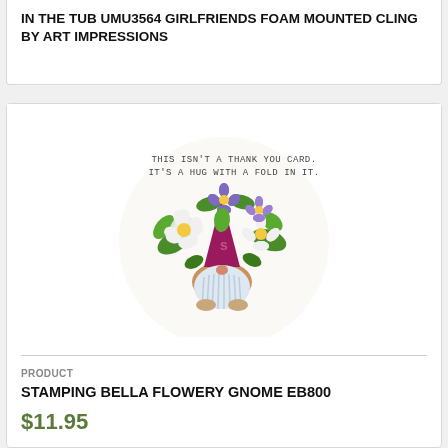IN THE TUB UMU3564 GIRLFRIENDS FOAM MOUNTED CLING BY ART IMPRESSIONS
[Figure (illustration): A colorful gnome character with a red hat, white beard, and large floral bouquet with white and purple flowers and green leaves. Above the gnome is text reading: THIS ISN'T A THANK YOU CARD. IT'S A HUG WITH A FOLD IN IT.]
PRODUCT
STAMPING BELLA FLOWERY GNOME EB800
$11.95